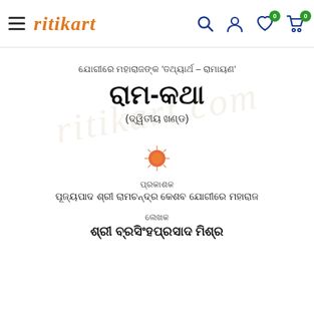ritikart — navigation header with hamburger menu, search, account, wishlist (0), cart (0)
ଯୋଗୀରେ ମହାରାଜଙ୍କ 'ତଥ୍ୟାର୍ଥ – ରାମାୟଣ'
ରାମ-କଥା
(ଦ୍ୱିତୀୟ ଖଣ୍ଡ)
ପ୍ରକାଶକ
ପୂଜ୍ୟପାଦ ଶ୍ରୀ ରାମଚନ୍ଦ୍ର କେଶବ ଯୋଗୀରେ ମହାରାଜ
ଲେଖକ
ଶ୍ରୀ ବ୍ରସିଂହପ୍ରସାଦ ମିଶ୍ର